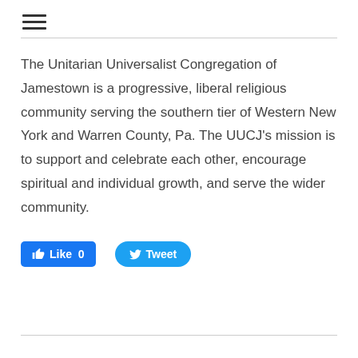[Figure (other): Hamburger menu icon (three horizontal lines)]
The Unitarian Universalist Congregation of Jamestown is a progressive, liberal religious community serving the southern tier of Western New York and Warren County, Pa. The UUCJ’s mission is to support and celebrate each other, encourage spiritual and individual growth, and serve the wider community.
[Figure (other): Social media buttons: Facebook Like (count 0) and Twitter Tweet buttons]